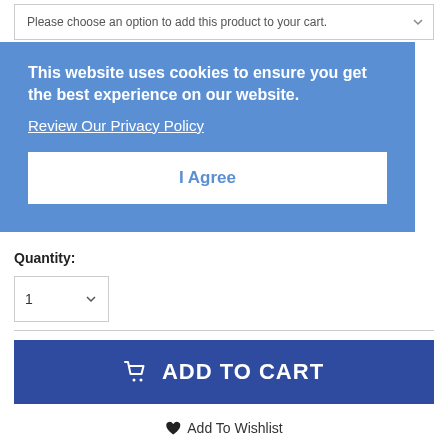Please choose an option to add this product to your cart.
This website uses cookies to ensure you get the best experience on our website.
Review Our Privacy Policy
I Agree
Do you have Medicare insurance?
NO
Quantity:
1
ADD TO CART
Add To Wishlist